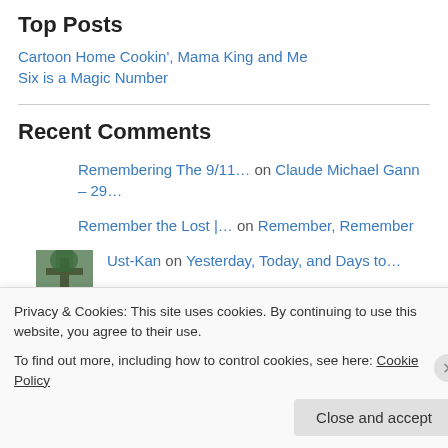Top Posts
Cartoon Home Cookin', Mama King and Me
Six is a Magic Number
Recent Comments
Remembering The 9/11… on Claude Michael Gann – 29…
Remember the Lost |… on Remember, Remember
Ust-Kan on Yesterday, Today, and Days to…
Privacy & Cookies: This site uses cookies. By continuing to use this website, you agree to their use.
To find out more, including how to control cookies, see here: Cookie Policy